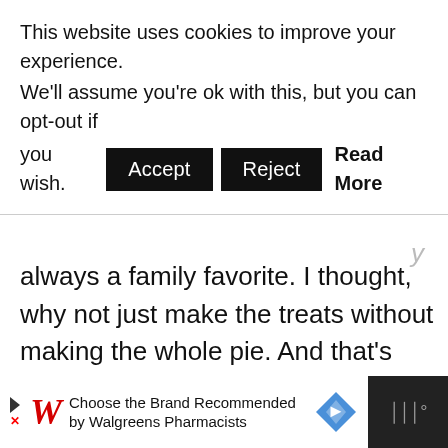This website uses cookies to improve your experience. We'll assume you're ok with this, but you can opt-out if you wish. [Accept] [Reject] Read More
always a family favorite. I thought, why not just make the treats without making the whole pie. And that's where I came up with this recipe using refrigerator pie crust.
[Figure (other): Advertisement bar at bottom: Walgreens logo with red cursive W, text 'Choose the Brand Recommended by Walgreens Pharmacists', blue diamond navigation icon, and Walgreens W symbol on dark background.]